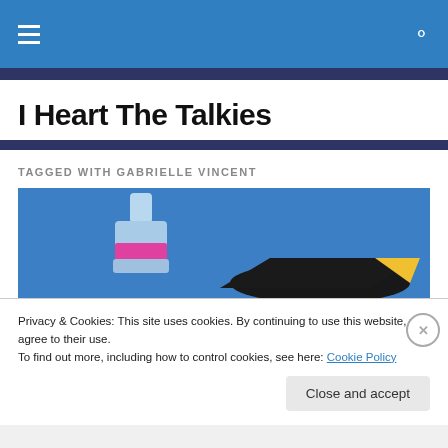I Heart The Talkies — navigation header with hamburger menu and search icon
TAGGED WITH GABRIELLE VINCENT
[Figure (illustration): Blue background illustration showing a bottle with pink liquid and a black triangular/bird shape with yellow beak]
Privacy & Cookies: This site uses cookies. By continuing to use this website, you agree to their use.
To find out more, including how to control cookies, see here: Cookie Policy
Close and accept